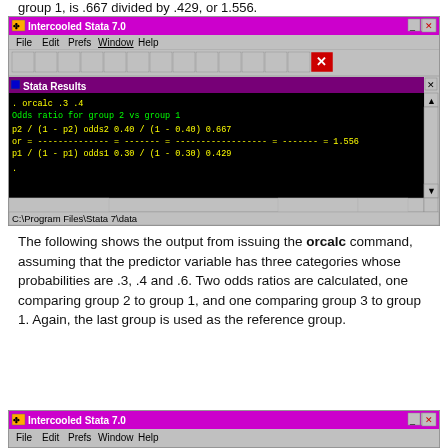group 1, is .667 divided by .429, or 1.556.
[Figure (screenshot): Intercooled Stata 7.0 window showing orcalc .3 .4 command output with odds ratio calculation: or = p2/(1-p2) / p1/(1-p1) = odds2/odds1 = 0.40/(1-0.40) / 0.30/(1-0.30) = 0.667/0.429 = 1.556. Status bar shows C:\Program Files\Stata 7\data]
The following shows the output from issuing the orcalc command, assuming that the predictor variable has three categories whose probabilities are .3, .4 and .6.  Two odds ratios are calculated, one comparing group 2 to group 1, and one comparing group 3 to group 1.  Again, the last group is used as the reference group.
[Figure (screenshot): Intercooled Stata 7.0 window (second instance) showing title bar, menu bar with File Edit Prefs Window Help]